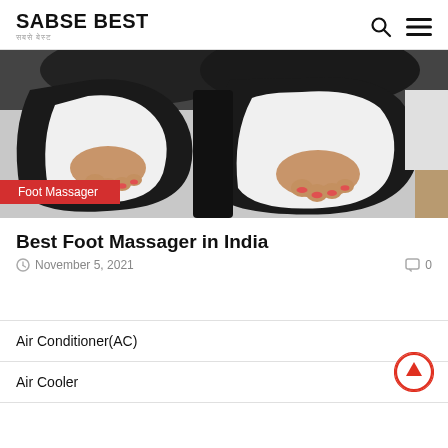SABSE BEST
[Figure (photo): Two feet placed inside black and white foot massager machine compartments]
Foot Massager
Best Foot Massager in India
November 5, 2021   0
Air Conditioner(AC)
Air Cooler